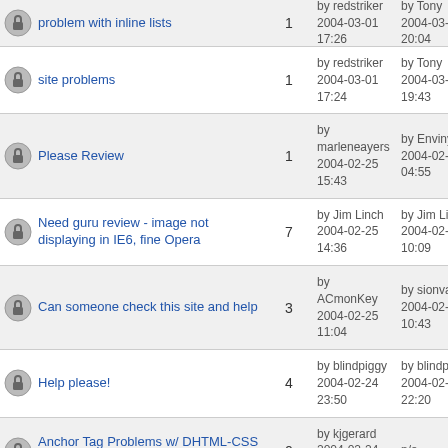| Topic | Replies | Posted | Last Post |
| --- | --- | --- | --- |
| problem with inline lists | 1 | by redstriker 2004-03-01 17:26 | by Tony 2004-03-01 20:04 |
| site problems | 1 | by redstriker 2004-03-01 17:24 | by Tony 2004-03-01 19:43 |
| Please Review | 1 | by marleneayers 2004-02-25 15:43 | by Envinyatar 2004-02-26 04:55 |
| Need guru review - image not displaying in IE6, fine Opera | 7 | by Jim Linch 2004-02-25 14:36 | by Jim Linch 2004-02-29 10:09 |
| Can someone check this site and help | 3 | by ACmonKey 2004-02-25 11:04 | by sionvalais 2004-02-29 10:43 |
| Help please! | 4 | by blindpiggy 2004-02-24 23:50 | by blindpiggy 2004-02-27 22:20 |
| Anchor Tag Problems w/ DHTML-CSS Scrollbar | 0 | by kjgerard 2004-02-24 14:49 | n/a |
| Please check out my site | 2 | by Tursas 2004-02-23 22:19 | by inababes 2004-02-25 05:22 |
| stylesheet switching | 8 | by inababes 2004-02-22 | by inababes 2004-03-04 |